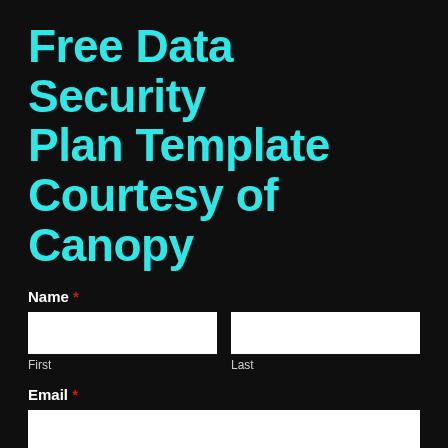Free Data Security Plan Template Courtesy of Canopy
Name *
First
Last
Email *
Download WISP Template